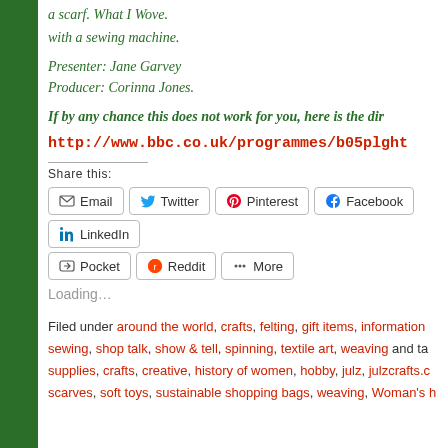with a sewing machine.
Presenter: Jane Garvey
Producer: Corinna Jones.
If by any chance this does not work for you, here is the dir
http://www.bbc.co.uk/programmes/b05plght
Share this:
Email  Twitter  Pinterest  Facebook  LinkedIn  Pocket  Reddit  More
Loading...
Filed under around the world, crafts, felting, gift items, information sewing, shop talk, show & tell, spinning, textile art, weaving and tags: supplies, crafts, creative, history of women, hobby, julz, julzcrafts.c scarves, soft toys, sustainable shopping bags, weaving, Woman's h